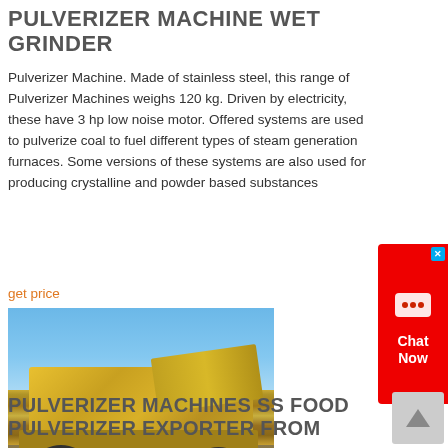PULVERIZER MACHINE WET GRINDER
Pulverizer Machine. Made of stainless steel, this range of Pulverizer Machines weighs 120 kg. Driven by electricity, these have 3 hp low noise motor. Offered systems are used to pulverize coal to fuel different types of steam generation furnaces. Some versions of these systems are also used for producing crystalline and powder based substances
get price
[Figure (photo): A large yellow industrial pulverizer/crusher machine on a construction or mining site with blue sky background and dirt ground]
PULVERIZER MACHINES SS FOOD PULVERIZER EXPORTER FROM